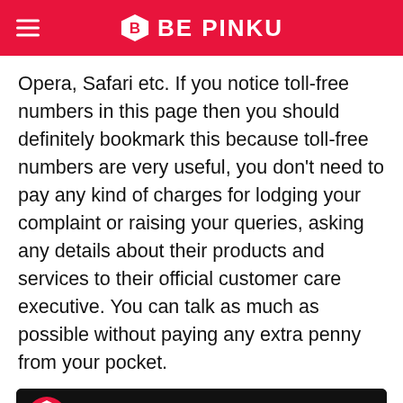BE PINKU
Opera, Safari etc. If you notice toll-free numbers in this page then you should definitely bookmark this because toll-free numbers are very useful, you don't need to pay any kind of charges for lodging your complaint or raising your queries, asking any details about their products and services to their official customer care executive. You can talk as much as possible without paying any extra penny from your pocket.
[Figure (screenshot): Embedded video card with BE PINKU logo, title 'Pocketly Customer Care Number, Tol...' on dark background with preview graphic]
[Figure (illustration): Partial bottom icons — blue and red shapes visible at bottom of page]